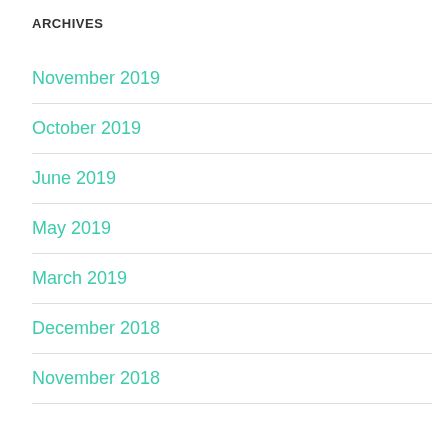ARCHIVES
November 2019
October 2019
June 2019
May 2019
March 2019
December 2018
November 2018